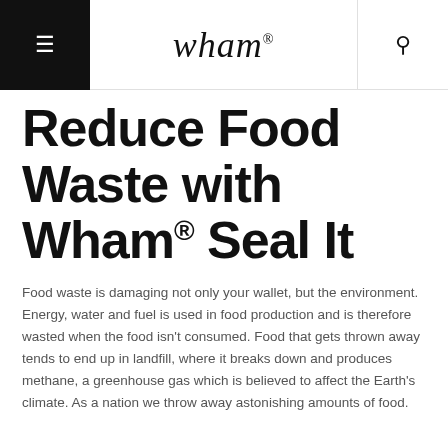wham®
Reduce Food Waste with Wham® Seal It
Food waste is damaging not only your wallet, but the environment. Energy, water and fuel is used in food production and is therefore wasted when the food isn't consumed. Food that gets thrown away tends to end up in landfill, where it breaks down and produces methane, a greenhouse gas which is believed to affect the Earth's climate. As a nation we throw away astonishing amounts of food.